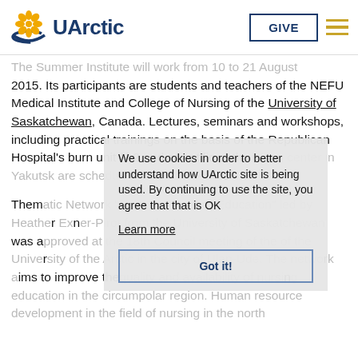UArctic
The Summer Institute will work from 10 to 21 August 2015. Its participants are students and teachers of the NEFU Medical Institute and College of Nursing of the University of Saskatchewan, Canada. Lectures, seminars and workshops, including practical trainings on the basis of the Republican Hospital's burn unit №2 and scientific phthisiology center in Yakutsk are scheduled for these two weeks.
Thematic Network "Northern Nursing Education" led by Heather Exner-Pirot from the University of Saskatchewan was approved at the 18th Council meeting of the of the University of the Arctic in the city of Ulan-Ude. The network aims to improve the quality and availability of nursing education in the circumpolar region. Human resource development in the field of nursing in the north
We use cookies in order to better understand how UArctic site is being used. By continuing to use the site, you agree that that is OK
Learn more
Got it!